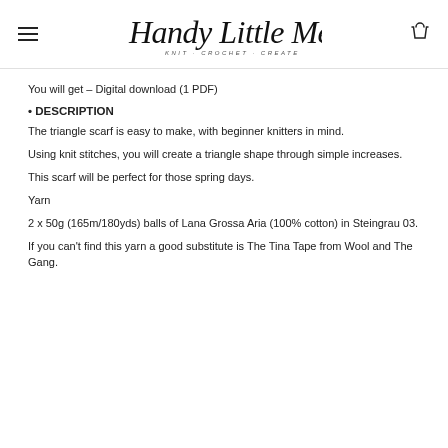Handy Little Me — KNIT · CROCHET · CREATE
You will get – Digital download (1 PDF)
• DESCRIPTION
The triangle scarf is easy to make, with beginner knitters in mind.
Using knit stitches, you will create a triangle shape through simple increases.
This scarf will be perfect for those spring days.
Yarn
2 x 50g (165m/180yds) balls of Lana Grossa Aria (100% cotton) in Steingrau 03.
If you can't find this yarn a good substitute is The Tina Tape from Wool and The Gang.